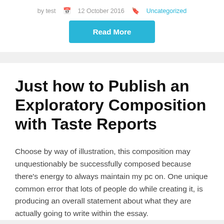by test  📅 12 October 2016  🔖 Uncategorized
Read More
Just how to Publish an Exploratory Composition with Taste Reports
Choose by way of illustration, this composition may unquestionably be successfully composed because there's energy to always maintain my pc on. One unique common error that lots of people do while creating it, is producing an overall statement about what they are actually going to write within the essay.